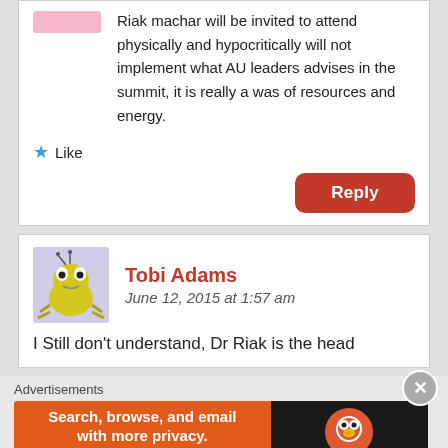Riak machar will be invited to attend physically and hypocritically will not implement what AU leaders advises in the summit, it is really a was of resources and energy.
Like
Reply
Tobi Adams
June 12, 2015 at 1:57 am
I Still don't understand, Dr Riak is the head
Advertisements
[Figure (infographic): DuckDuckGo advertisement banner: 'Search, browse, and email with more privacy. All in One Free App' with DuckDuckGo logo on dark background.]